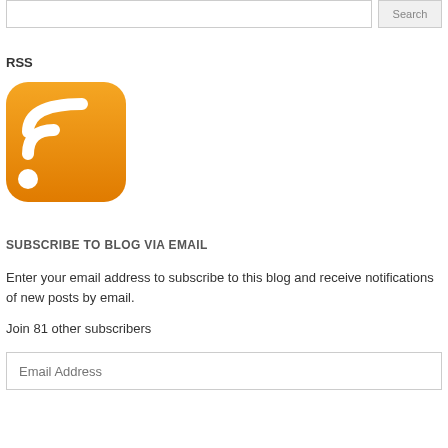[Figure (other): Search input field with Search button]
RSS
[Figure (logo): RSS feed icon — orange rounded square with white RSS signal waves and dot]
SUBSCRIBE TO BLOG VIA EMAIL
Enter your email address to subscribe to this blog and receive notifications of new posts by email.
Join 81 other subscribers
[Figure (other): Email Address input field placeholder]